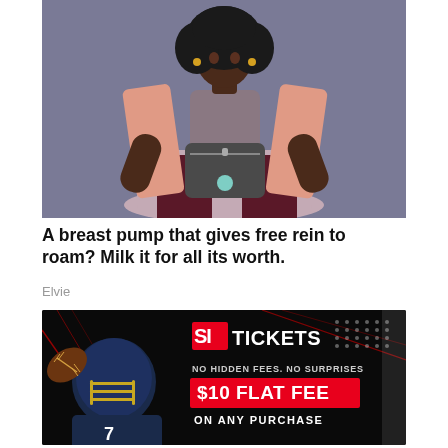[Figure (photo): A woman with natural hair sitting in a chair wearing a pink blazer over a gray bra top and dark red pants, holding a gray breast pump bag with a teal dot]
A breast pump that gives free rein to roam? Milk it for all its worth.
Elvie
[Figure (photo): SI Tickets advertisement showing a football player in helmet against dark background with text: NO HIDDEN FEES. NO SURPRISES / $10 FLAT FEE / ON ANY PURCHASE]